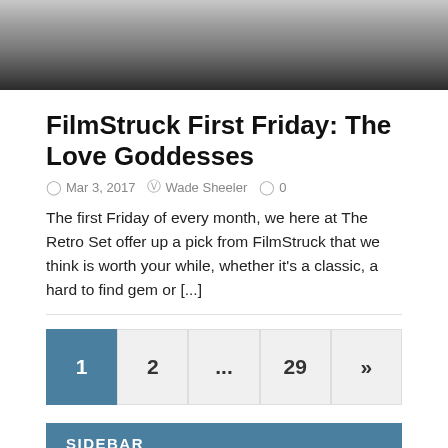[Figure (photo): Black and white close-up photo, top portion of image visible at the top of the page]
FilmStruck First Friday: The Love Goddesses
Mar 3, 2017   Wade Sheeler   0
The first Friday of every month, we here at The Retro Set offer up a pick from FilmStruck that we think is worth your while, whether it's a classic, a hard to find gem or [...]
1  2  ...  29  »
SIDEBAR
Please navigate to Appearance → Widgets in your WordPress dashboard and add some widgets into the Sidebar widget area.